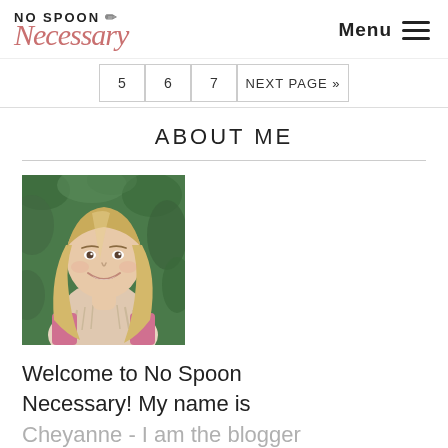No Spoon Necessary — Menu
5
6
7
NEXT PAGE »
ABOUT ME
[Figure (photo): Portrait of a young blonde woman smiling, wearing a pink top and furry vest, standing in front of green leafy bushes.]
Welcome to No Spoon Necessary! My name is
Cheyanne - I am the blogger and girl behind the camera. Um